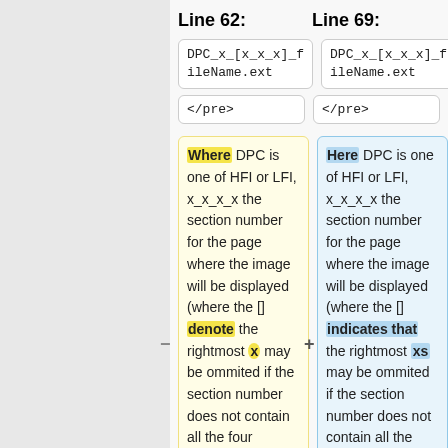Line 62:
Line 69:
DPC_x_[x_x_x]_fileName.ext
DPC_x_[x_x_x]_fileName.ext
</pre>
</pre>
Where DPC is one of HFI or LFI, x_x_x_x the section number for the page where the image will be displayed (where the [] denote the rightmost x may be ommited if the section number does not contain all the four possible digits). fileName the filename to be
Here DPC is one of HFI or LFI, x_x_x_x the section number for the page where the image will be displayed (where the [] indicates that the rightmost xs may be ommited if the section number does not contain all the four possible digits). fileName the filename to be